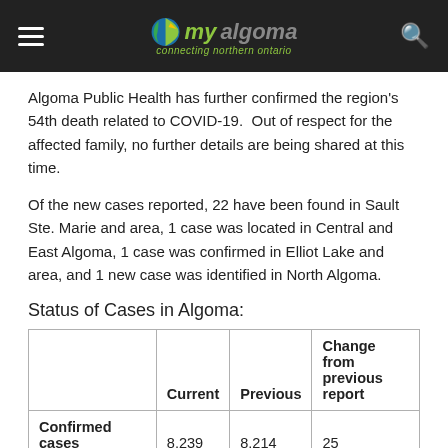my algoma — connecting northern ontario
Algoma Public Health has further confirmed the region's 54th death related to COVID-19.  Out of respect for the affected family, no further details are being shared at this time.
Of the new cases reported, 22 have been found in Sault Ste. Marie and area, 1 case was located in Central and East Algoma, 1 case was confirmed in Elliot Lake and area, and 1 new case was identified in North Algoma.
Status of Cases in Algoma:
|  | Current | Previous | Change from previous report |
| --- | --- | --- | --- |
| Confirmed cases | 8,239 | 8,214 | 25 |